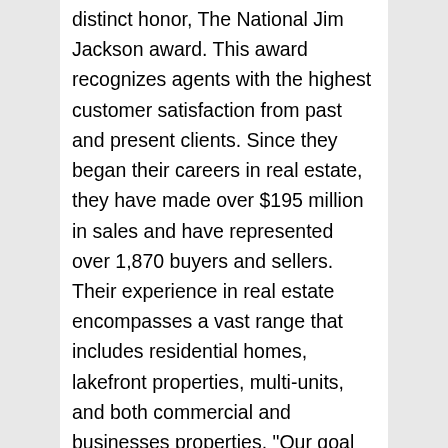distinct honor, The National Jim Jackson award. This award recognizes agents with the highest customer satisfaction from past and present clients. Since they began their careers in real estate, they have made over $195 million in sales and have represented over 1,870 buyers and sellers. Their experience in real estate encompasses a vast range that includes residential homes, lakefront properties, multi-units, and both commercial and businesses properties. "Our goal has always been to give our clients the time they need to find the perfect property. Our attention to detail coupled with our past and present knowledge will guide you to understand the full process of obtaining financing options, choosing the right property, and finalizing the sale by working with all involved including inspectors, lenders, and attorneys